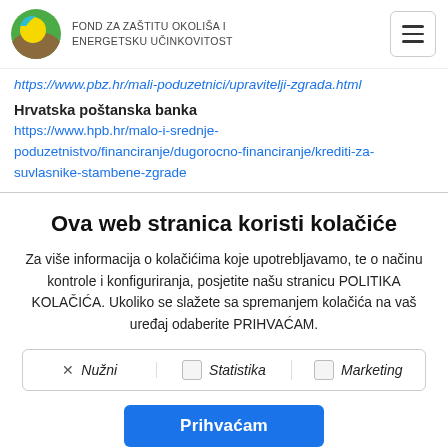[Figure (logo): Fond za zaštitu okoliša i energetsku učinkovitost logo — circular emblem with green, yellow and brown colors, accompanied by text name of the organization]
https://www.pbz.hr/mali-poduzetnici/upravitelji-zgrada.html
Hrvatska poštanska banka
https://www.hpb.hr/malo-i-srednje-poduzetnistvo/financiranje/dugorocno-financiranje/krediti-za-suvlasnike-stambene-zgrade
Ova web stranica koristi kolačiće
Za više informacija o kolačićima koje upotrebljavamo, te o načinu kontrole i konfiguriranja, posjetite našu stranicu POLITIKA KOLAČIĆA. Ukoliko se slažete sa spremanjem kolačića na vaš uređaj odaberite PRIHVAĆAM.
× Nužni    Statistika    Marketing
Prihvaćam